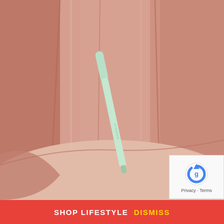[Figure (photo): Two mint green mascara tubes or cosmetic pens resting on a pink velvet chair. One tube is upright leaning against the chair back, the other lies diagonally across the seat cushion. The background is a dusty pink velvet upholstered chair with curved armrests.]
Scroll
[Figure (logo): Google reCAPTCHA logo icon (circular arrow with g symbol)]
Privacy · Terms
SHOP LIFESTYLE DISMISS